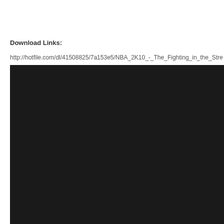Download Links:
http://hotfile.com/dl/41508825/7a153e5/NBA_2K10_-_The_Fighting_in_the_Stre
[Figure (other): Black rectangle representing a video player or embedded media area]